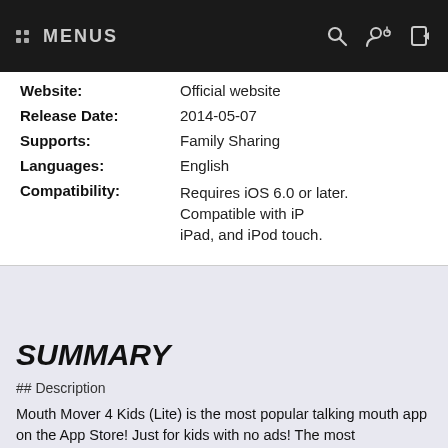MENUS
| Website: | Official website |
| Release Date: | 2014-05-07 |
| Supports: | Family Sharing |
| Languages: | English |
| Compatibility: | Requires iOS 6.0 or later. Compatible with iPhone, iPad, and iPod touch. |
SUMMARY
## Description
Mouth Mover 4 Kids (Lite) is the most popular talking mouth app on the App Store! Just for kids with no ads! The most responsive, smoothest, and best moving mouth app available!
Now works with iOS 7! With over 2.5 million downloads overall!
Talk louder and watch the mouths open wider! The mouths change